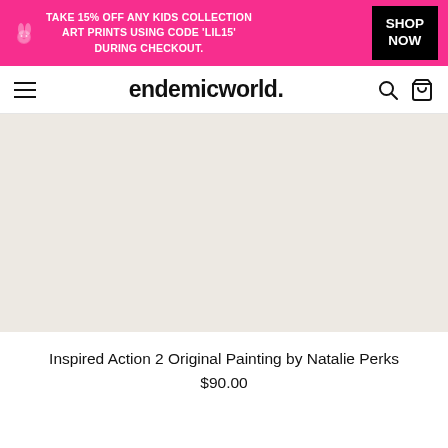TAKE 15% OFF ANY KIDS COLLECTION ART PRINTS USING CODE 'LIL15' DURING CHECKOUT. SHOP NOW
endemicworld.
[Figure (photo): Light beige/cream product image placeholder area for an art print by Natalie Perks]
Inspired Action 2 Original Painting by Natalie Perks
$90.00